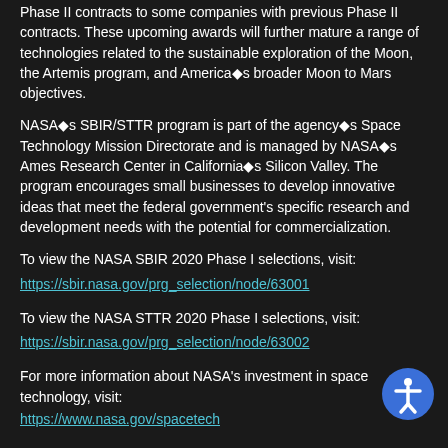Phase II contracts to some companies with previous Phase II contracts. These upcoming awards will further mature a range of technologies related to the sustainable exploration of the Moon, the Artemis program, and America's broader Moon to Mars objectives.
NASA's SBIR/STTR program is part of the agency's Space Technology Mission Directorate and is managed by NASA's Ames Research Center in California's Silicon Valley. The program encourages small businesses to develop innovative ideas that meet the federal government's specific research and development needs with the potential for commercialization.
To view the NASA SBIR 2020 Phase I selections, visit:
https://sbir.nasa.gov/prg_selection/node/63001
To view the NASA STTR 2020 Phase I selections, visit:
https://sbir.nasa.gov/prg_selection/node/63002
For more information about NASA's investment in space technology, visit:
https://www.nasa.gov/spacetech